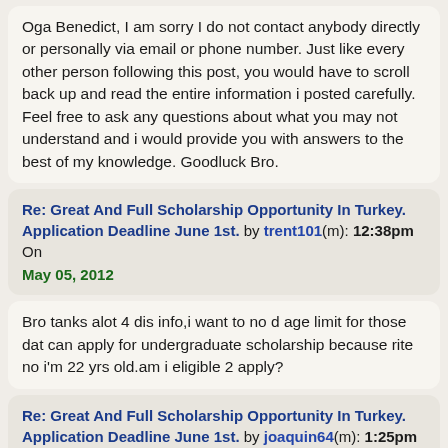Oga Benedict, I am sorry I do not contact anybody directly or personally via email or phone number. Just like every other person following this post, you would have to scroll back up and read the entire information i posted carefully. Feel free to ask any questions about what you may not understand and i would provide you with answers to the best of my knowledge. Goodluck Bro.
Re: Great And Full Scholarship Opportunity In Turkey. Application Deadline June 1st. by trent101(m): 12:38pm On May 05, 2012
Bro tanks alot 4 dis info,i want to no d age limit for those dat can apply for undergraduate scholarship because rite no i'm 22 yrs old.am i eligible 2 apply?
Re: Great And Full Scholarship Opportunity In Turkey. Application Deadline June 1st. by joaquin64(m): 1:25pm On May 05, 2012
trent101: Bro tanks alot 4 dis info,i want to no d age...